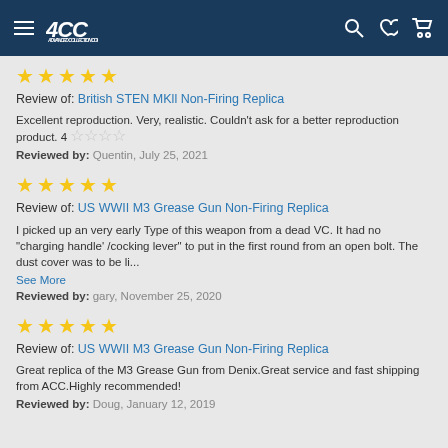4CC [logo] [search] [wishlist] [cart]
★★★★★ Review of: British STEN MKll Non-Firing Replica. Excellent reproduction. Very, realistic. Couldn't ask for a better reproduction product. 4 ☆☆☆☆. Reviewed by: Quentin, July 25, 2021
★★★★★ Review of: US WWII M3 Grease Gun Non-Firing Replica. I picked up an very early Type of this weapon from a dead VC. It had no "charging handle' /cocking lever" to put in the first round from an open bolt. The dust cover was to be li... See More. Reviewed by: gary, November 25, 2020
★★★★★ Review of: US WWII M3 Grease Gun Non-Firing Replica. Great replica of the M3 Grease Gun from Denix.Great service and fast shipping from ACC.Highly recommended! Reviewed by: Doug, January 12, 2019